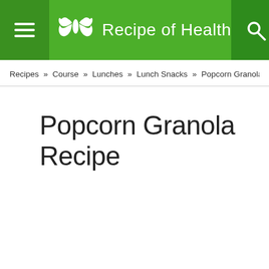Recipe of Health
Recipes » Course » Lunches » Lunch Snacks » Popcorn Granola Recipe
Popcorn Granola Recipe